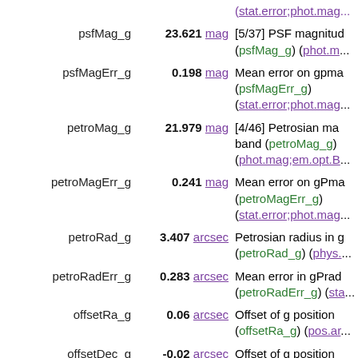| Name | Value | Unit | Description |
| --- | --- | --- | --- |
|  |  |  | (stat.error;phot.mag... |
| psfMag_g | 23.621 | mag | [5/37] PSF magnitude (psfMag_g) (phot.m... |
| psfMagErr_g | 0.198 | mag | Mean error on gpma (psfMagErr_g) (stat.error;phot.mag... |
| petroMag_g | 21.979 | mag | [4/46] Petrosian mag band (petroMag_g) (phot.mag;em.opt.B... |
| petroMagErr_g | 0.241 | mag | Mean error on gPma (petroMagErr_g) (stat.error;phot.mag... |
| petroRad_g | 3.407 | arcsec | Petrosian radius in g (petroRad_g) (phys.... |
| petroRadErr_g | 0.283 | arcsec | Mean error in gPrad (petroRadErr_g) (sta... |
| offsetRa_g | 0.06 | arcsec | Offset of g position (offsetRa_g) (pos.ar... |
| offsetDec_g | -0.02 | arcsec | Offset of g position (offsetDec_g) (pos.a... |
| deVRad_g | 8.733 | arcsec | de Vaucouleurs fit ra (deVRad_g) (phys.a... |
| gdVell | 0.512 | arcsec | de Vaucouleurs fit... |